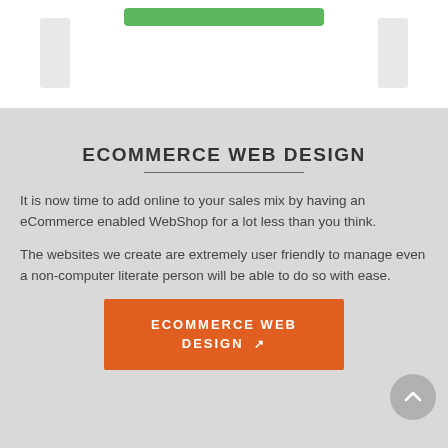[Figure (screenshot): Top white section showing a green button/bar with two grey rectangular elements on either side, representing a website UI snippet.]
ECOMMERCE WEB DESIGN
It is now time to add online to your sales mix by having an eCommerce enabled WebShop for a lot less than you think.
The websites we create are extremely user friendly to manage even a non-computer literate person will be able to do so with ease.
ECOMMERCE WEB DESIGN ↗